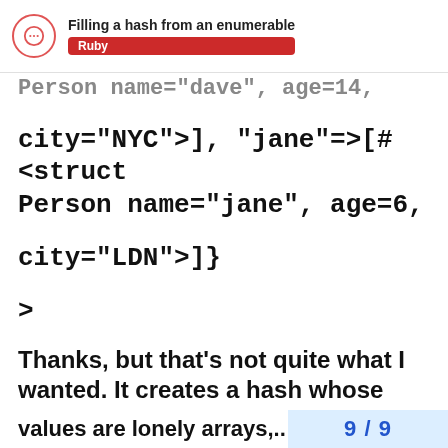Filling a hash from an enumerable [Ruby]
Person name="dave", age=14,
city="NYC">], "jane"=>[#<struct Person name="jane", age=6,
city="LDN">]}
>
Thanks, but that's not quite what I wanted. It creates a hash whose
values are lonely arrays,...
9 / 9